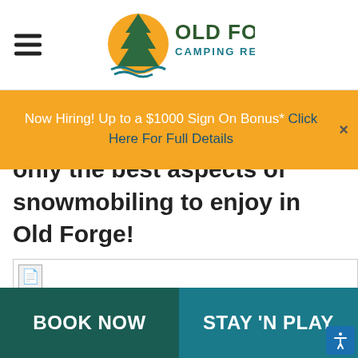Old Forge Camping Resort
Now Hiring! Up to a $1000 Sign On Bonus* Click Here For Full Details
only the best aspects of snowmobiling to enjoy in Old Forge!
[Figure (photo): Broken image placeholder for a snowmobiling photo]
BOOK NOW
STAY 'N PLAY